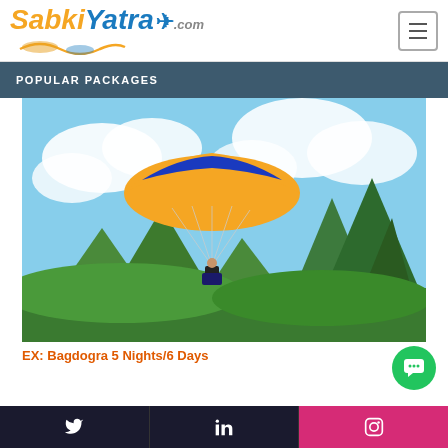SabkiYatra.com
POPULAR PACKAGES
[Figure (photo): Paraglider with yellow and blue parachute soaring over green mountainous landscape with clouds and a peak in background]
EX: Bagdogra 5 Nights/6 Days
Twitter | LinkedIn | Instagram